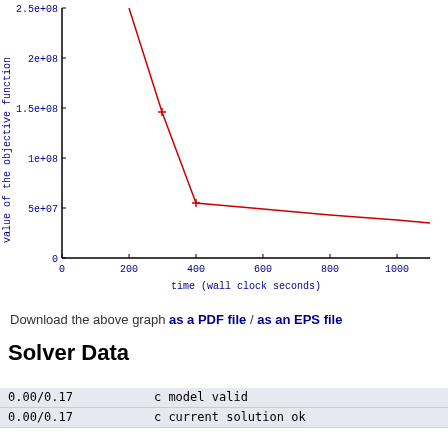[Figure (continuous-plot): Line chart showing the value of the objective function (y-axis, 0 to 2.5e+08) over time in wall clock seconds (x-axis, 0 to ~1100). The red line starts high around 2.5e+08 at roughly t=200, drops steeply to about 1.47e+08 at t=300 (marked with +), then continues dropping sharply to about 5.5e+07 at t=400 (marked with +), then decreases gradually to about 3.5e+07 by t=1100.]
Download the above graph as a PDF file / as an EPS file
Solver Data
| 0.00/0.17 | c model valid |
| 0.00/0.17 | c current solution ok |